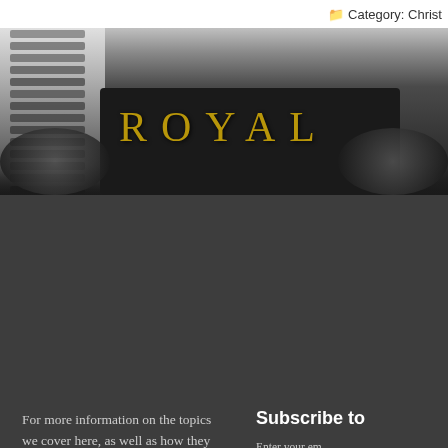Category: Christ
[Figure (photo): Dark vintage Royal typewriter close-up showing the ROYAL brand name in gold/brown letters on a dark metallic surface, with spiral notebook binding visible on the left side]
For more information on the topics we cover here, as well as how they relate to general health look for our article published in the health magazine ANIPOTS.
Subscribe to
Enter your em… receive notific…
Join 701 other…
Email Address
Subscrib…
WordPress the